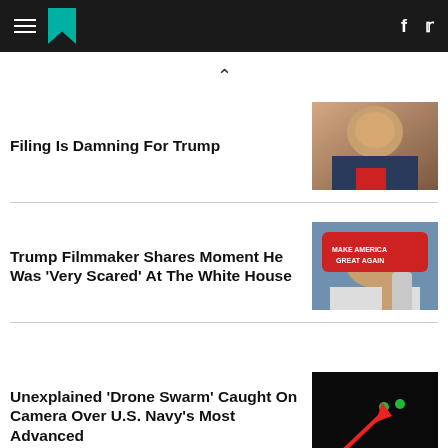HuffPost navigation header with hamburger menu, logo, Facebook and Twitter icons
Filing Is Damning For Trump
[Figure (photo): Close-up photo of Trump speaking, mouth open, wearing suit and red tie]
Trump Filmmaker Shares Moment He Was 'Very Scared' At The White House
[Figure (photo): Trump wearing red Make America Great Again hat, holding phone to ear]
Unexplained 'Drone Swarm' Caught On Camera Over U.S. Navy's Most Advanced
[Figure (photo): Dark night sky photo with two small glowing green lights and a red arrow pointing up at them]